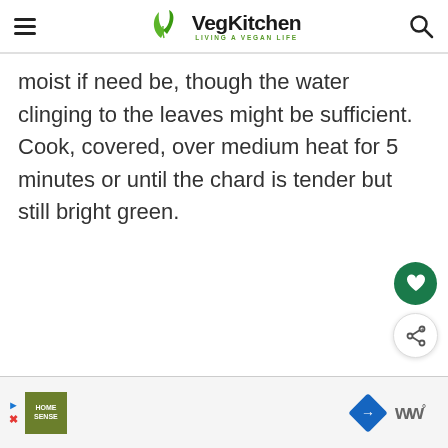VegKitchen — LIVING A VEGAN LIFE
moist if need be, though the water clinging to the leaves might be sufficient. Cook, covered, over medium heat for 5 minutes or until the chard is tender but still bright green.